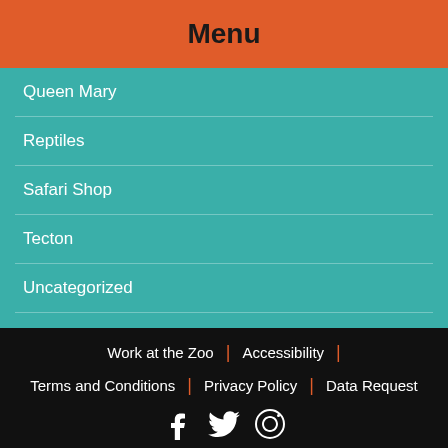Menu
Queen Mary
Reptiles
Safari Shop
Tecton
Uncategorized
Ungulates
Video
Work at the Zoo | Accessibility | Terms and Conditions | Privacy Policy | Data Request